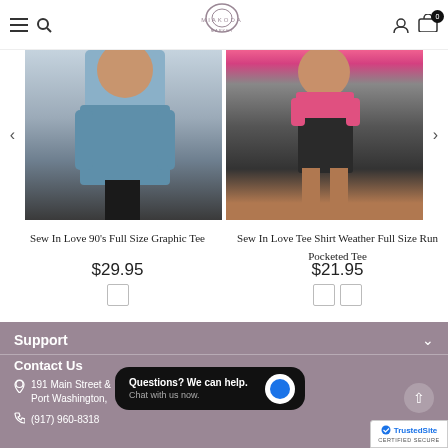[Figure (screenshot): Miakoda Market e-commerce website header with hamburger menu, search icon, logo, user icon, and cart icon showing 0 items]
[Figure (photo): Product photo of a person wearing a blue graphic tee with black pants]
Sew In Love 90's Full Size Graphic Tee
$29.95
[Figure (photo): Product photo of a person wearing a pink top with black distressed denim shorts]
Sew In Love Tee Shirt Weather Full Size Run Pocketed Tee
$21.95
Support
Contact Us
191 Main Street, Port Washington,
(917) 960-8318
[Figure (screenshot): Chat popup overlay reading: Questions? We can help. Chat with us now. With blue chat bubble button.]
[Figure (logo): TrustedSite Certified Secure badge]